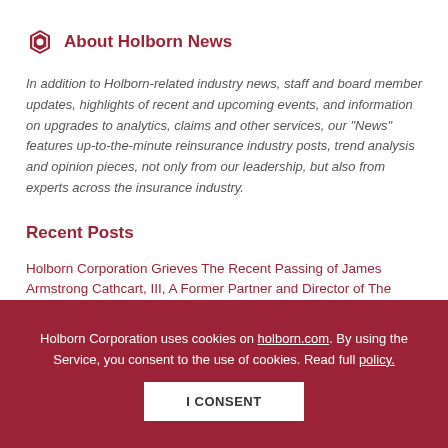About Holborn News
In addition to Holborn-related industry news, staff and board member updates, highlights of recent and upcoming events, and information on upgrades to analytics, claims and other services, our "News" features up-to-the-minute reinsurance industry posts, trend analysis and opinion pieces, not only from our leadership, but also from experts across the insurance industry.
Recent Posts
Holborn Corporation Grieves The Recent Passing of James Armstrong Cathcart, III, A Former Partner and Director of The Firm.
Holborn Corporation uses cookies on holborn.com. By using the Service, you consent to the use of cookies. Read full policy.